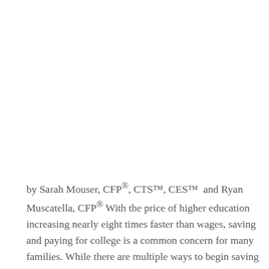by Sarah Mouser, CFP®, CTS™, CES™  and Ryan Muscatella, CFP® With the price of higher education increasing nearly eight times faster than wages, saving and paying for college is a common concern for many families. While there are multiple ways to begin saving for educational expenses, 529